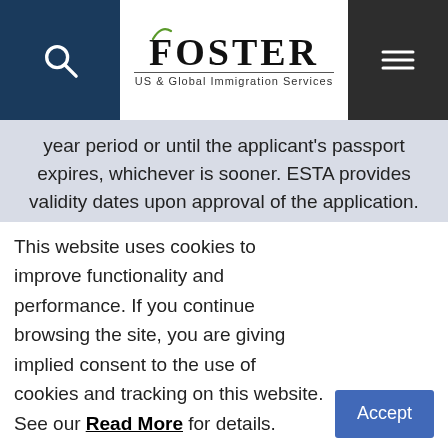Foster US & Global Immigration Services
year period or until the applicant's passport expires, whichever is sooner. ESTA provides validity dates upon approval of the application. Therefore, a traveler must apply for a new ESTA when the prior ESTA approval or passport expires. The associated fee will be charged for each new application submitted.
Q:  What should a traveler do if the information
This website uses cookies to improve functionality and performance. If you continue browsing the site, you are giving implied consent to the use of cookies and tracking on this website. See our Read More for details.